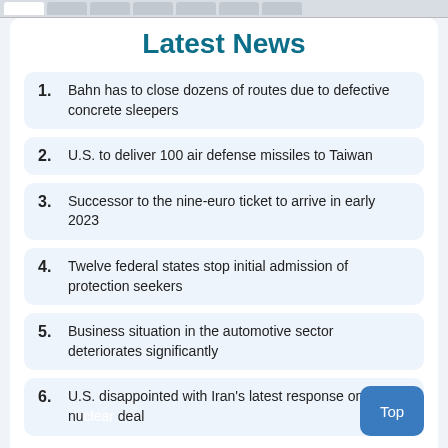Latest News
1. Bahn has to close dozens of routes due to defective concrete sleepers
2. U.S. to deliver 100 air defense missiles to Taiwan
3. Successor to the nine-euro ticket to arrive in early 2023
4. Twelve federal states stop initial admission of protection seekers
5. Business situation in the automotive sector deteriorates significantly
6. U.S. disappointed with Iran's latest response on nuclear deal